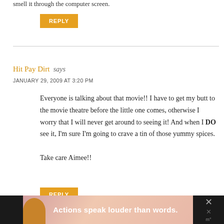smell it through the computer screen.
REPLY
Hit Pay Dirt says
JANUARY 29, 2009 AT 3:20 PM
Everyone is talking about that movie!! I have to get my butt to the movie theatre before the little one comes, otherwise I worry that I will never get around to seeing it! And when I DO see it, I'm sure I'm going to crave a tin of those yummy spices.

Take care Aimee!!
REPLY
[Figure (screenshot): Advertisement banner at bottom: dark background with pink/coral image of a person and text 'Actions speak louder than words.' with close buttons.]